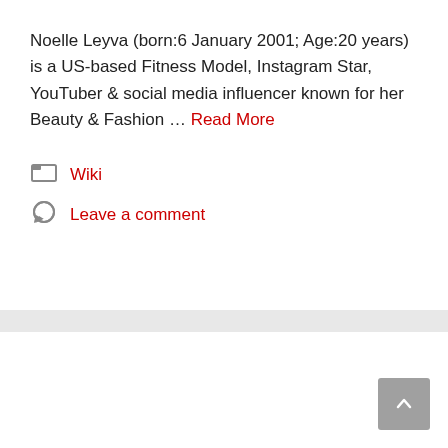Noelle Leyva (born:6 January 2001; Age:20 years) is a US-based Fitness Model, Instagram Star, YouTuber & social media influencer known for her Beauty & Fashion … Read More
Wiki
Leave a comment